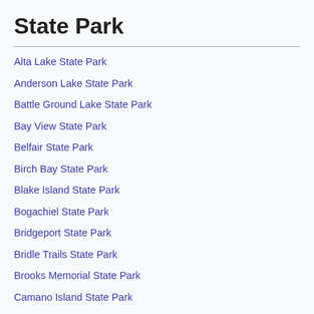State Park
Alta Lake State Park
Anderson Lake State Park
Battle Ground Lake State Park
Bay View State Park
Belfair State Park
Birch Bay State Park
Blake Island State Park
Bogachiel State Park
Bridgeport State Park
Bridle Trails State Park
Brooks Memorial State Park
Camano Island State Park
Cape Disappointment State Park
Centennial Trail State Park
Conconully State Park